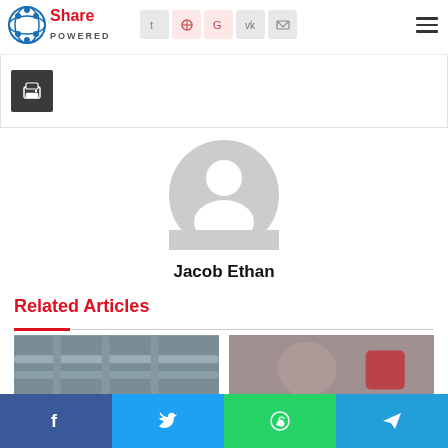Share Powered - navigation header with social share icons
[Figure (screenshot): Print button - dark grey square button with printer icon]
[Figure (photo): Default user avatar - grey circle with person silhouette]
Jacob Ethan
Related Articles
[Figure (photo): Article thumbnail - industrial pipes/engineering equipment]
[Figure (photo): Article thumbnail - person handling red equipment]
Social share bottom bar: Facebook, Twitter, WhatsApp, Telegram